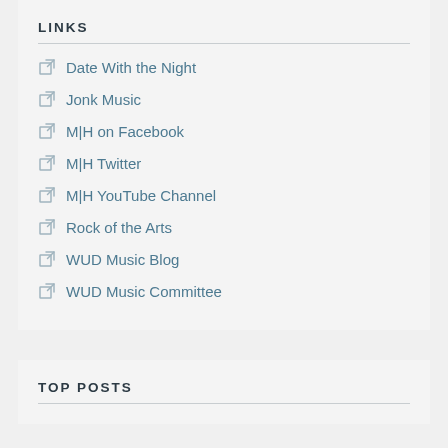LINKS
Date With the Night
Jonk Music
M|H on Facebook
M|H Twitter
M|H YouTube Channel
Rock of the Arts
WUD Music Blog
WUD Music Committee
TOP POSTS